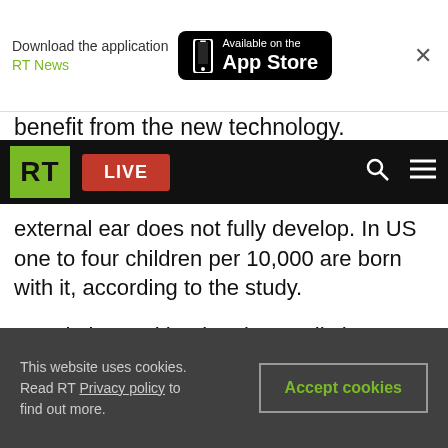[Figure (screenshot): App Store download banner with RT News text and Available on the App Store badge, with phone icon and close X button]
benefit from the new technology.
[Figure (screenshot): RT News website navigation bar with green RT logo, red LIVE button, search icon, and hamburger menu icon on black background]
external ear does not fully develop. In US one to four children per 10,000 are born with it, according to the study.
People born with microtia usually have an inner part of the ear fully functional, but they still have impaired hearing because they are missing part of their external ear.
This website uses cookies. Read RT Privacy policy to find out more. Accept cookies